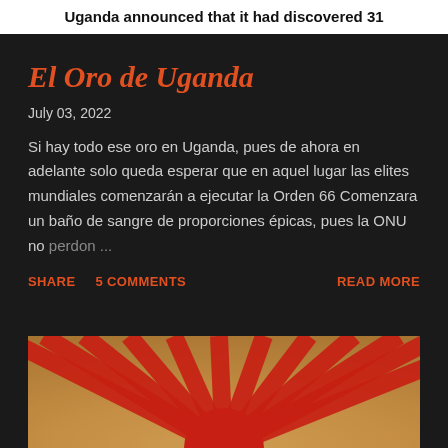Uganda announced that it had discovered 31
El Oro de Uganda
July 03, 2022
Si hay todo ese oro en Uganda, pues de ahora en adelante solo queda esperar que en aquel lugar las elites mundiales comenzarán a ejecutar la Orden 66 Comenzara un baño de sangre de proporciones épicas, pues la ONU no perdon...
SHARE   5 COMMENTS   READ MORE
[Figure (photo): Rising sun flag image with red rays on a beige/brown background, partially visible at the bottom of the page]